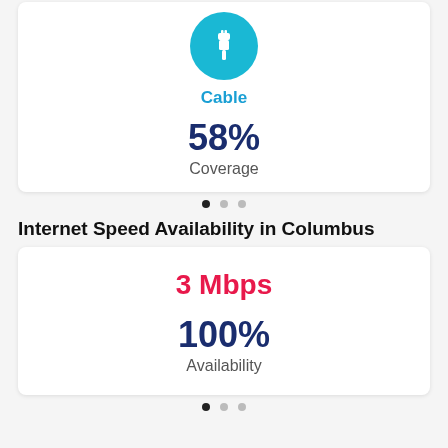[Figure (illustration): Teal circle icon with white cable/connector symbol]
Cable
58%
Coverage
• • •
Internet Speed Availability in Columbus
3 Mbps
100%
Availability
• • •